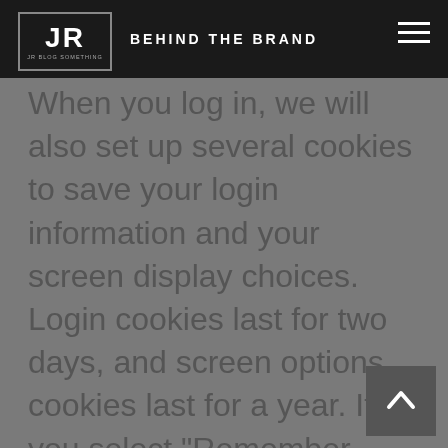JR | BEHIND THE BRAND
When you log in, we will also set up several cookies to save your login information and your screen display choices. Login cookies last for two days, and screen options cookies last for a year. If you select “Remember Me”, your login will persist for two weeks. If you log out of your account, the login cookies will be removed.
If you edit or publish an article, an additional cookie will be saved in your browser. This cookie includes no personal data and simply indicates the post ID of